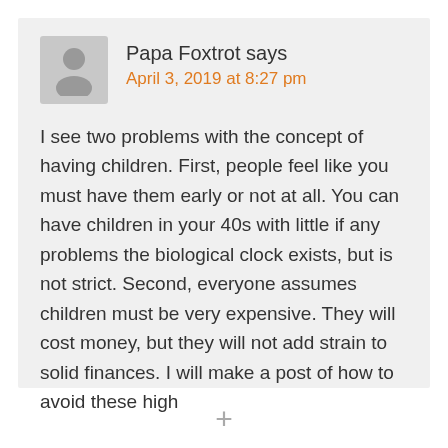[Figure (illustration): Grey avatar icon of a person silhouette]
Papa Foxtrot says
April 3, 2019 at 8:27 pm
I see two problems with the concept of having children. First, people feel like you must have them early or not at all. You can have children in your 40s with little if any problems the biological clock exists, but is not strict. Second, everyone assumes children must be very expensive. They will cost money, but they will not add strain to solid finances. I will make a post of how to avoid these high